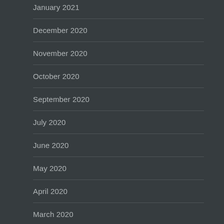January 2021
December 2020
November 2020
October 2020
September 2020
July 2020
June 2020
May 2020
April 2020
March 2020
July 2019
July 2018